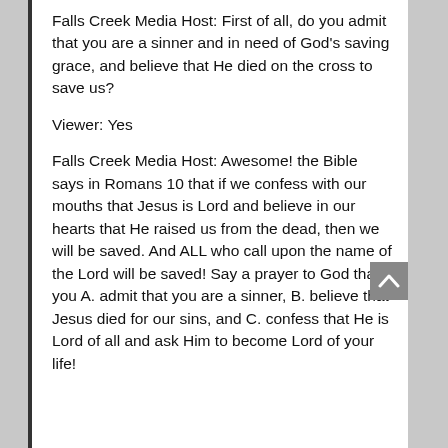Falls Creek Media Host: First of all, do you admit that you are a sinner and in need of God's saving grace, and believe that He died on the cross to save us?
Viewer: Yes
Falls Creek Media Host: Awesome! the Bible says in Romans 10 that if we confess with our mouths that Jesus is Lord and believe in our hearts that He raised us from the dead, then we will be saved. And ALL who call upon the name of the Lord will be saved! Say a prayer to God that you A. admit that you are a sinner, B. believe that Jesus died for our sins, and C. confess that He is Lord of all and ask Him to become Lord of your life!